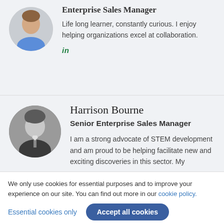[Figure (photo): Circular cropped headshot of a man in a blue shirt, partially visible at top]
Enterprise Sales Manager
Life long learner, constantly curious. I enjoy helping organizations excel at collaboration.
in
[Figure (photo): Circular cropped black and white headshot of a young man in a suit and tie]
Harrison Bourne
Senior Enterprise Sales Manager
I am a strong advocate of STEM development and am proud to be helping facilitate new and exciting discoveries in this sector. My
We only use cookies for essential purposes and to improve your experience on our site. You can find out more in our cookie policy.
Essential cookies only
Accept all cookies